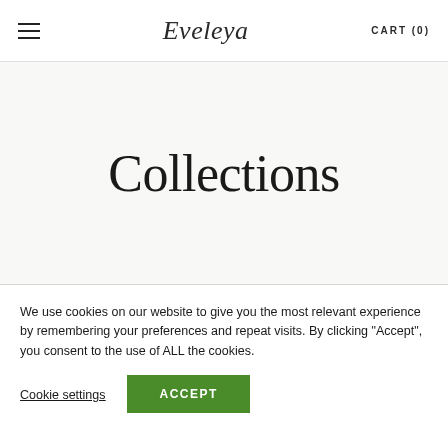Eveleya — CART (0)
Collections
We use cookies on our website to give you the most relevant experience by remembering your preferences and repeat visits. By clicking "Accept", you consent to the use of ALL the cookies.
Cookie settings
ACCEPT